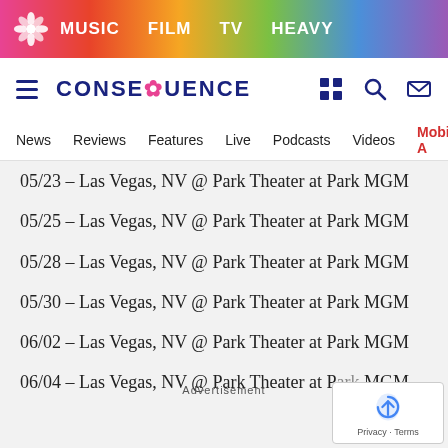MUSIC  FILM  TV  HEAVY
CONSEQUENCE — News  Reviews  Features  Live  Podcasts  Videos  Mobile A
05/23 – Las Vegas, NV @ Park Theater at Park MGM
05/25 – Las Vegas, NV @ Park Theater at Park MGM
05/28 – Las Vegas, NV @ Park Theater at Park MGM
05/30 – Las Vegas, NV @ Park Theater at Park MGM
06/02 – Las Vegas, NV @ Park Theater at Park MGM
06/04 – Las Vegas, NV @ Park Theater at Park MGM